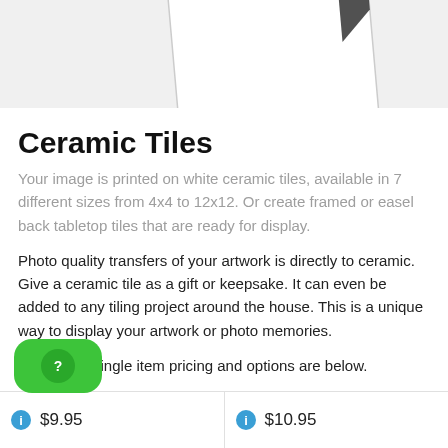[Figure (photo): Partial view of a white ceramic tile with a dark angled corner/edge showing, on a light grey background, cropped at top of page.]
Ceramic Tiles
Your image is printed on white ceramic tiles, available in 7 different sizes from 4x4 to 12x12. Or create framed or easel back tabletop tiles that are ready for display.
Photo quality transfers of your artwork is directly to ceramic. Give a ceramic tile as a gift or keepsake. It can even be added to any tiling project around the house. This is a unique way to display your artwork or photo memories.
Bulk rates, single item pricing and options are below.
[Figure (other): Green rounded rectangle button with a question mark circle icon inside.]
$9.95
$10.95